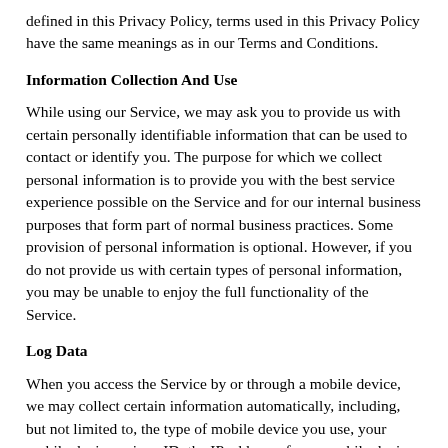defined in this Privacy Policy, terms used in this Privacy Policy have the same meanings as in our Terms and Conditions.
Information Collection And Use
While using our Service, we may ask you to provide us with certain personally identifiable information that can be used to contact or identify you. The purpose for which we collect personal information is to provide you with the best service experience possible on the Service and for our internal business purposes that form part of normal business practices. Some provision of personal information is optional. However, if you do not provide us with certain types of personal information, you may be unable to enjoy the full functionality of the Service.
Log Data
When you access the Service by or through a mobile device, we may collect certain information automatically, including, but not limited to, the type of mobile device you use, your mobile device unique ID, the IP address of your mobile device, your mobile operating system, the type of mobile Internet browser you use and other statistics ("Log Data").
Location Information